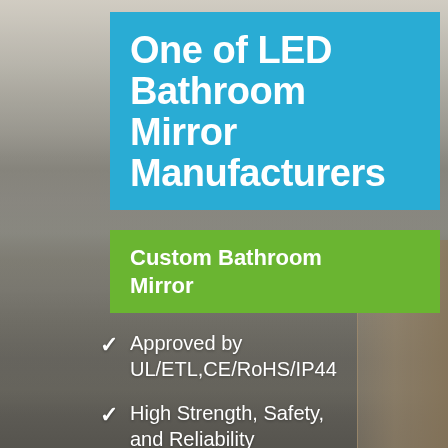[Figure (photo): Background photo of a modern bathroom interior with ceiling lights, gray tile walls, and wooden shelving unit on the right side.]
One of LED Bathroom Mirror Manufacturers
Custom Bathroom Mirror
Approved by UL/ETL,CE/RoHS/IP44
High Strength, Safety, and Reliability